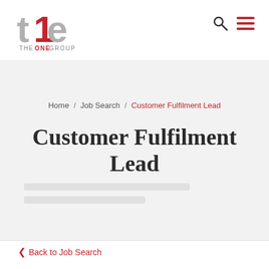[Figure (logo): The One Group logo — 'the' in gray/red lettering with 'THE ONE GROUP' text below]
Navigation header with The One Group logo, search icon, and menu icon
Home / Job Search / Customer Fulfilment Lead
Customer Fulfilment Lead
< Back to Job Search